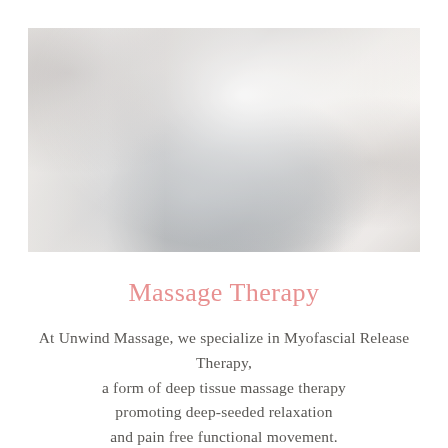[Figure (photo): A faded, washed-out photograph of a massage therapy room showing hot stones on a massage table, a therapist figure on the left in dark clothing, white draped fabric, a shoji screen in the background, and a client figure on the right.]
Massage Therapy
At Unwind Massage, we specialize in Myofascial Release Therapy, a form of deep tissue massage therapy promoting deep-seeded relaxation and pain free functional movement.